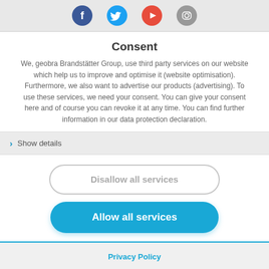[Figure (illustration): Social media icons row: Facebook (blue circle with f), Twitter (light blue circle with bird), YouTube (red circle with play button), Instagram (grey circle with camera)]
Consent
We, geobra Brandstätter Group, use third party services on our website which help us to improve and optimise it (website optimisation). Furthermore, we also want to advertise our products (advertising). To use these services, we need your consent. You can give your consent here and of course you can revoke it at any time. You can find further information in our data protection declaration.
Show details
Disallow all services
Allow all services
Privacy Policy
Condition of Use